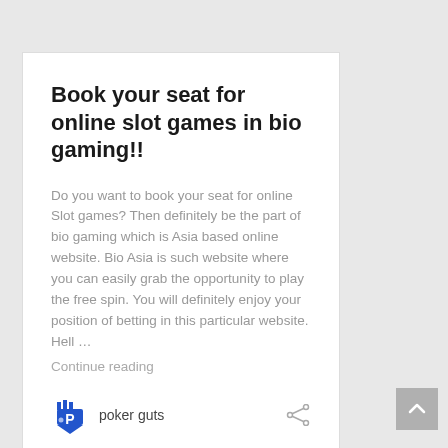Book your seat for online slot games in bio gaming!!
Do you want to book your seat for online Slot games? Then definitely be the part of bio gaming which is Asia based online website. Bio Asia is such website where you can easily grab the opportunity to play the free spin. You will definitely enjoy your position of betting in this particular website. Hell …
Continue reading
poker guts